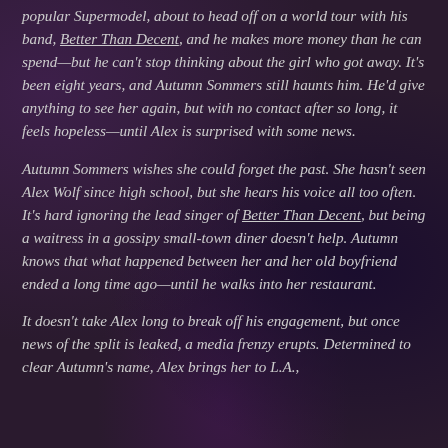popular Supermodel, about to head off on a world tour with his band, Better Than Decent, and he makes more money than he can spend—but he can't stop thinking about the girl who got away. It's been eight years, and Autumn Sommers still haunts him. He'd give anything to see her again, but with no contact after so long, it feels hopeless—until Alex is surprised with some news.
Autumn Sommers wishes she could forget the past. She hasn't seen Alex Wolf since high school, but she hears his voice all too often. It's hard ignoring the lead singer of Better Than Decent, but being a waitress in a gossipy small-town diner doesn't help. Autumn knows that what happened between her and her old boyfriend ended a long time ago—until he walks into her restaurant.
It doesn't take Alex long to break off his engagement, but once news of the split is leaked, a media frenzy erupts. Determined to clear Autumn's name, Alex brings her to L.A.,